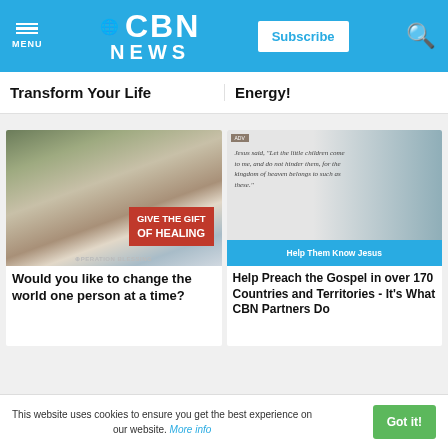CBN NEWS
Transform Your Life
Energy!
[Figure (photo): Child in hospital bed with text overlay: GIVE THE GIFT OF HEALING – Operation Blessing advertisement]
[Figure (photo): Biblical quote image with child: Jesus said, "Let the little children come to me, and do not hinder them, for the kingdom of heaven belongs to such as these." Matthew 19:14 NIV – with blue bar: Help Them Know Jesus]
Would you like to change the world one person at a time?
Help Preach the Gospel in over 170 Countries and Territories - It's What CBN Partners Do
This website uses cookies to ensure you get the best experience on our website. More info